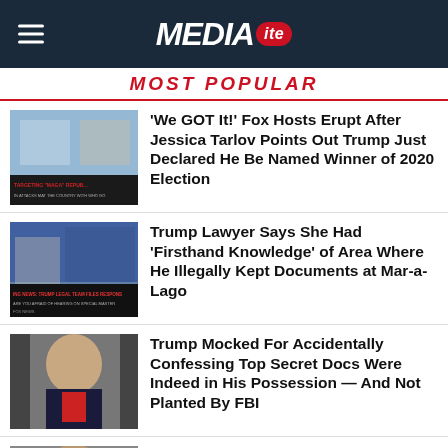MEDIA ITE
MOST POPULAR
[Figure (photo): Fox News TV screenshot showing hosts at desk with 'Targeting MAGA Republicans' chyron]
'We GOT It!' Fox Hosts Erupt After Jessica Tarlov Points Out Trump Just Declared He Be Named Winner of 2020 Election
[Figure (photo): Fox News screenshot with legal news chyron about Trump legal team]
Trump Lawyer Says She Had 'Firsthand Knowledge' of Area Where He Illegally Kept Documents at Mar-a-Lago
[Figure (photo): Donald Trump portrait photo in dark suit and red tie]
Trump Mocked For Accidentally Confessing Top Secret Docs Were Indeed in His Possession — And Not Planted By FBI
[Figure (photo): Partial photo for fourth article]
Trump's Last Minute Court Filing